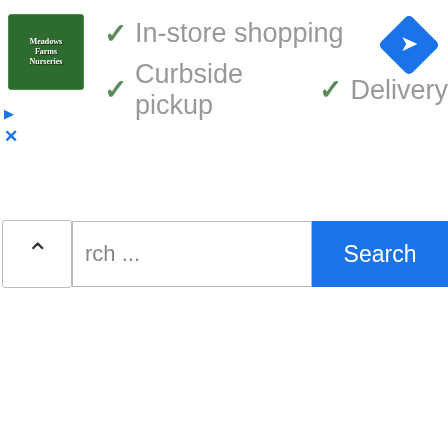[Figure (logo): Meadows Farms Nurseries logo - green square logo with white text]
✓ In-store shopping
✓ Curbside pickup  ✓ Delivery
[Figure (illustration): Blue diamond-shaped navigation/turn-right icon]
rch ...
Search